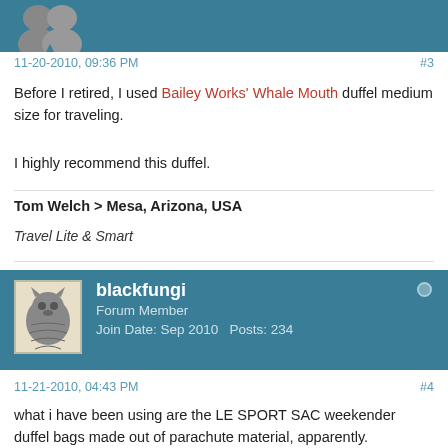[Figure (other): Top user banner (teal/blue background) with partial avatar showing stylized gray icon, cropped at top]
11-20-2010, 09:36 PM
#3
Before I retired, I used Bailey Works' Whale Mouth duffel medium size for traveling.
I highly recommend this duffel.
Tom Welch > Mesa, Arizona, USA
Travel Lite & Smart
[Figure (other): User banner for blackfungi: teal background, avatar with wolf/direwolf logo on cream background, username blackfungi bold white, Forum Member, Join Date: Sep 2010, Posts: 234, online indicator circle top right]
11-21-2010, 04:43 PM
#4
what i have been using are the LE SPORT SAC weekender duffel bags made out of parachute material, apparently.